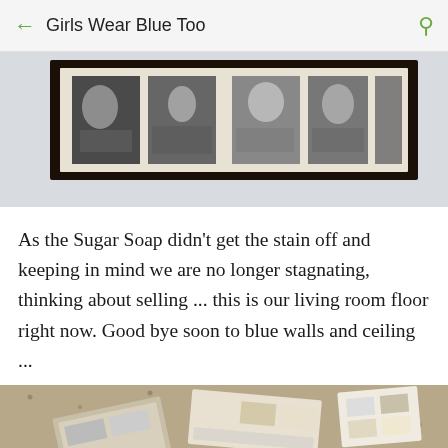Girls Wear Blue Too
[Figure (photo): A horizontal panoramic black picture frame containing multiple black-and-white photographs, mounted on a light wall.]
As the Sugar Soap didn't get the stain off and keeping in mind we are no longer stagnating, thinking about selling ... this is our living room floor right now. Good bye soon to blue walls and ceiling ...
[Figure (photo): A carpeted floor with several paint or wallpaper sample books and swatches laid out on it.]